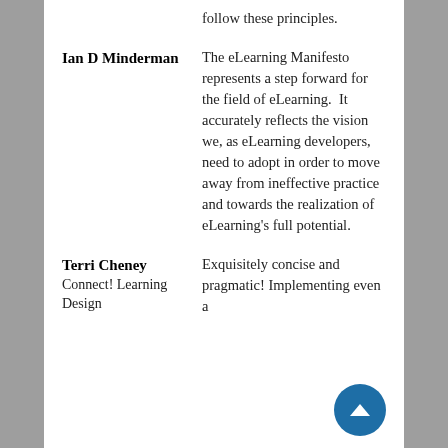follow these principles.
Ian D Minderman
The eLearning Manifesto represents a step forward for the field of eLearning.  It accurately reflects the vision we, as eLearning developers,   need to adopt in order to move away from ineffective practice and towards the realization of eLearning's full potential.
Terri Cheney
Connect! Learning Design
Exquisitely concise and pragmatic! Implementing even a